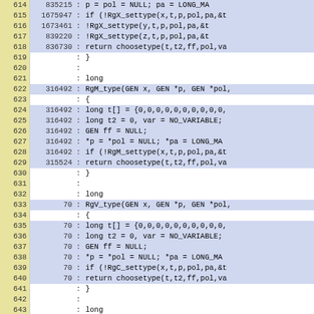Code coverage listing, lines 614-644, showing line numbers, hit counts, and source code
| Line | HitCount | : | Code |
| --- | --- | --- | --- |
| 614 | 835215 | : | p = pol = NULL; pa = LONG_MA |
| 615 | 1675947 | : | if (!RgX_settype(x,t,p,pol,pa,&t |
| 616 | 1673461 | : | !RgX_settype(y,t,p,pol,pa,&t |
| 617 | 839220 | : | !RgX_settype(z,t,p,pol,pa,&t |
| 618 | 836730 | : | return choosetype(t,t2,ff,pol,va |
| 619 |  | : | } |
| 620 |  | : |  |
| 621 |  | : | long |
| 622 | 316492 | : | RgM_type(GEN x, GEN *p, GEN *pol, |
| 623 |  | : | { |
| 624 | 316492 | : | long t[] = {0,0,0,0,0,0,0,0,0,0, |
| 625 | 316492 | : | long t2 = 0, var = NO_VARIABLE; |
| 626 | 316492 | : | GEN ff = NULL; |
| 627 | 316492 | : | *p = *pol = NULL; *pa = LONG_MA |
| 628 | 316492 | : | if (!RgM_settype(x,t,p,pol,pa,&t |
| 629 | 315524 | : | return choosetype(t,t2,ff,pol,va |
| 630 |  | : | } |
| 631 |  | : |  |
| 632 |  | : | long |
| 633 | 70 | : | RgV_type(GEN x, GEN *p, GEN *pol, |
| 634 |  | : | { |
| 635 | 70 | : | long t[] = {0,0,0,0,0,0,0,0,0,0, |
| 636 | 70 | : | long t2 = 0, var = NO_VARIABLE; |
| 637 | 70 | : | GEN ff = NULL; |
| 638 | 70 | : | *p = *pol = NULL; *pa = LONG_MA |
| 639 | 70 | : | if (!RgC_settype(x,t,p,pol,pa,&t |
| 640 | 70 | : | return choosetype(t,t2,ff,pol,va |
| 641 |  | : | } |
| 642 |  | : |  |
| 643 |  | : | long |
| 644 | 202 | : | RgV_type2(GEN x, GEN y, GEN *p, |